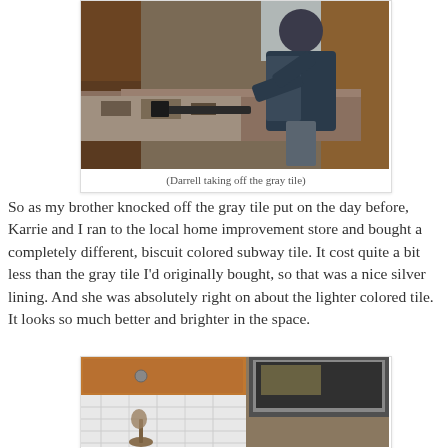[Figure (photo): Person leaning over a kitchen counter removing gray tile, with tools and debris visible on the counter surface, dark wood cabinets and window in background]
(Darrell taking off the gray tile)
So as my brother knocked off the gray tile put on the day before, Karrie and I ran to the local home improvement store and bought a completely different, biscuit colored subway tile.  It cost quite a bit less than the gray tile I'd originally bought, so that was a nice silver lining.  And she was absolutely right on about the lighter colored tile.  It looks so much better and brighter in the space.
[Figure (photo): Kitchen backsplash area showing white subway tiles installed, with wooden cabinets above, a stainless steel microwave, and kitchen utensils visible]